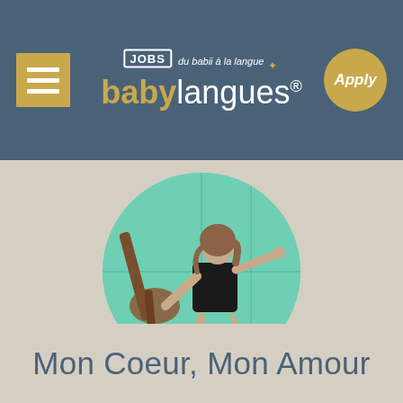babylangues JOBS - du babii à la langue
[Figure (photo): A woman in a black dress leaning against a mint-green tiled wall, holding a guitar neck, with arms spread wide. Displayed in a circular crop on a beige/tan background.]
Mon Coeur, Mon Amour